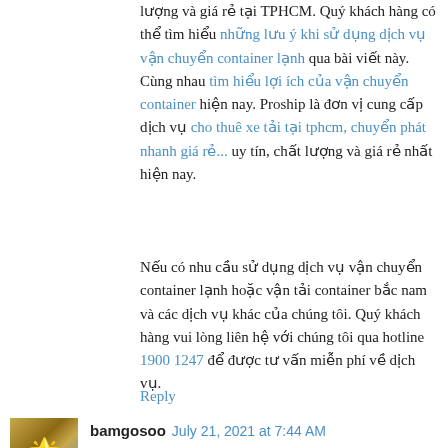lượng và giá rẻ tại TPHCM. Quý khách hàng có thể tìm hiểu những lưu ý khi sử dụng dịch vụ vận chuyển container lạnh qua bài viết này. Cùng nhau tìm hiểu lợi ích của vận chuyển container hiện nay. Proship là đơn vị cung cấp dịch vụ cho thuê xe tải tại tphcm, chuyển phát nhanh giá rẻ... uy tín, chất lượng và giá rẻ nhất hiện nay.
Nếu có nhu cầu sử dụng dịch vụ vận chuyển container lạnh hoặc vận tải container bắc nam và các dịch vụ khác của chúng tôi. Quý khách hàng vui lòng liên hệ với chúng tôi qua hotline 1900 1247 để được tư vấn miễn phí về dịch vụ.
Reply
bamgosoo  July 21, 2021 at 7:44 AM
Every weekend i used to pay a quick visit this web site, because i want enjoyment, for the reason that this this web page conations really nice funny data too.
Feel free to visit my blog - 곤나